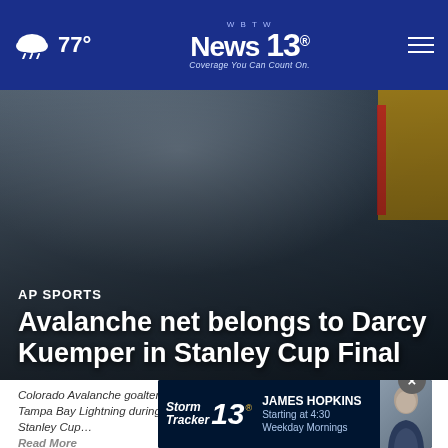77° WBTW News 13 Coverage You Can Count On.
[Figure (photo): Colorado Avalanche goaltender in helmet close-up, dark background with goal net and red post visible]
AP SPORTS
Avalanche net belongs to Darcy Kuemper in Stanley Cup Final
Colorado Avalanche goaltender Darcy Kuemper (35) gives up a goal to the Tampa Bay Lightning during the second period of Game 1 of the NHL hockey Stanley Cup... Read More
by: ST
Posted:
Updated: Jun 16, 2022 / 01:30 PM EDT
[Figure (screenshot): Storm Tracker 13 advertisement banner featuring James Hopkins, Starting at 4:30 Weekday Mornings]